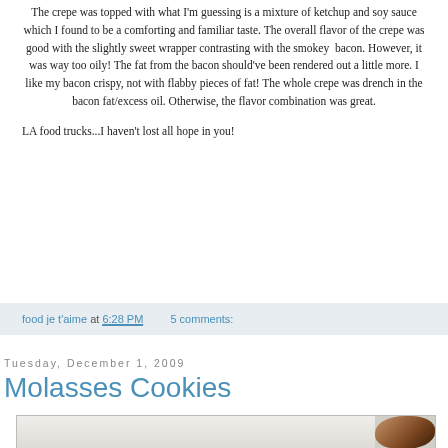The crepe was topped with what I'm guessing is a mixture of ketchup and soy sauce which I found to be a comforting and familiar taste. The overall flavor of the crepe was good with the slightly sweet wrapper contrasting with the smokey  bacon. However, it was way too oily! The fat from the bacon should've been rendered out a little more. I like my bacon crispy, not with flabby pieces of fat! The whole crepe was drench in the bacon fat/excess oil. Otherwise, the flavor combination was great.
LA food trucks...I haven't lost all hope in you!
food je t'aime at 6:28 PM    5 comments:
Tuesday, December 1, 2009
Molasses Cookies
[Figure (photo): Partial photo of a cookie on a light background, showing the edge of a baked molasses cookie]